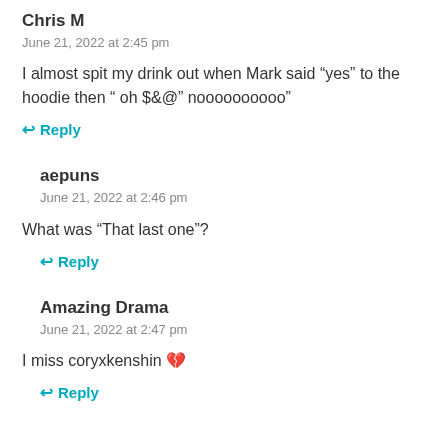Chris M
June 21, 2022 at 2:45 pm
I almost spit my drink out when Mark said “yes” to the hoodie then “ oh $&@” noooooooooo”
Reply
aepuns
June 21, 2022 at 2:46 pm
What was “That last one”?
Reply
Amazing Drama
June 21, 2022 at 2:47 pm
I miss coryxkenshin 💔
Reply